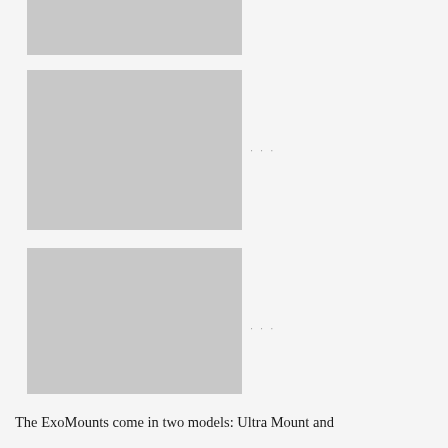[Figure (photo): Gray placeholder image, wide format, top of page]
[Figure (photo): Gray placeholder image, tall format, middle section]
[Figure (photo): Gray placeholder image, tall format, lower section]
The ExoMounts come in two models: Ultra Mount and